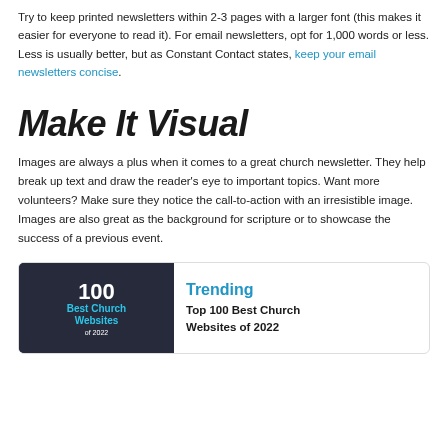Try to keep printed newsletters within 2-3 pages with a larger font (this makes it easier for everyone to read it). For email newsletters, opt for 1,000 words or less. Less is usually better, but as Constant Contact states, keep your email newsletters concise.
Make It Visual
Images are always a plus when it comes to a great church newsletter. They help break up text and draw the reader’s eye to important topics. Want more volunteers? Make sure they notice the call-to-action with an irresistible image. Images are also great as the background for scripture or to showcase the success of a previous event.
[Figure (screenshot): A card with a screenshot showing '100 Best Church Websites of 2022' alongside a Trending section header and 'Top 100 Best Church Websites of 2022' title.]